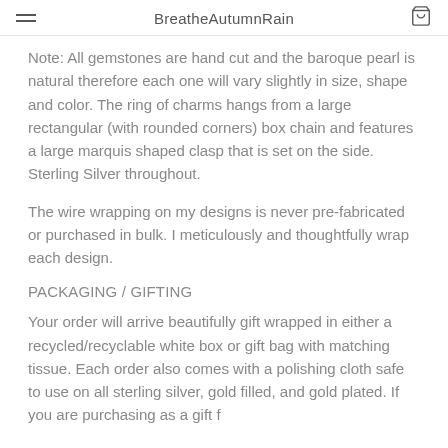BreatheAutumnRain
Note: All gemstones are hand cut and the baroque pearl is natural therefore each one will vary slightly in size, shape and color. The ring of charms hangs from a large rectangular (with rounded corners) box chain and features a large marquis shaped clasp that is set on the side. Sterling Silver throughout.
The wire wrapping on my designs is never pre-fabricated or purchased in bulk. I meticulously and thoughtfully wrap each design.
PACKAGING / GIFTING
Your order will arrive beautifully gift wrapped in either a recycled/recyclable white box or gift bag with matching tissue. Each order also comes with a polishing cloth safe to use on all sterling silver, gold filled, and gold plated. If you are purchasing as a gift f...